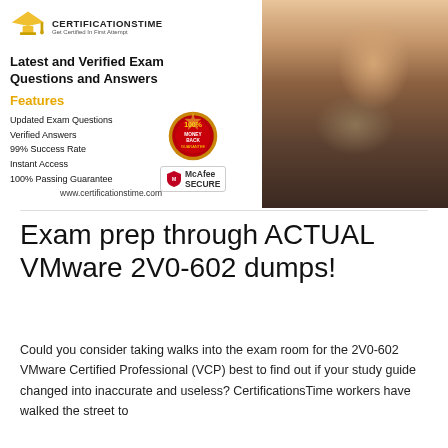[Figure (logo): CertificationsTime logo with graduation cap icon and tagline 'Get Certified In First Attempt']
Latest and Verified Exam Questions and Answers
Features
Updated Exam Questions
Verified Answers
99% Success Rate
Instant Access
100% Passing Guarantee
[Figure (photo): Woman studying on laptop at desk]
www.certificationstime.com
Exam prep through ACTUAL VMware 2V0-602 dumps!
Could you consider taking walks into the exam room for the 2V0-602 VMware Certified Professional (VCP) best to find out if your study guide changed into inaccurate and useless? CertificationsTime workers have walked the street to certification and are aware of the importance of